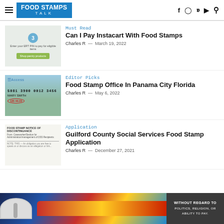Food Stamps Talk
[Figure (screenshot): Instacart ERT PIN screen with 'Shop pantry products' green button]
Must Read
Can I Pay Instacart With Food Stamps
Charles R  -  March 19, 2022
[Figure (photo): EBT Access card showing number 5081 3900 0012 3456 with store shelves in background]
Editor Picks
Food Stamp Office In Panama City Florida
Charles R  -  May 6, 2022
[Figure (screenshot): Food Stamp Notice of Discontinuance form]
Application
Guilford County Social Services Food Stamp Application
Charles R  -  December 27, 2021
[Figure (photo): Southwest Airlines plane being loaded with cargo - advertisement banner]